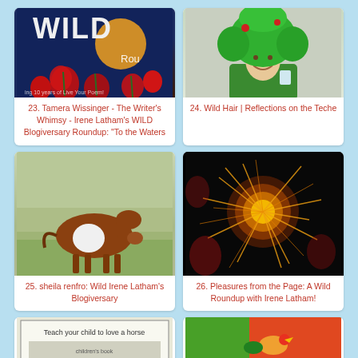[Figure (photo): Book cover with WILD text and red poppies on dark background]
23. Tamera Wissinger - The Writer's Whimsy - Irene Latham's WILD Blogiversary Roundup: "To the Waters
[Figure (photo): Woman wearing bright green wig and green costume, smiling]
24. Wild Hair | Reflections on the Teche
[Figure (photo): Brown and white horse grazing in a field]
25. sheila renfro: Wild Irene Latham's Blogiversary
[Figure (photo): Glowing yellow-orange firework or glass sculpture against dark background]
26. Pleasures from the Page: A Wild Roundup with Irene Latham!
[Figure (photo): Book cover with text 'Teach your child to love a horse']
[Figure (photo): Colorful bird image]